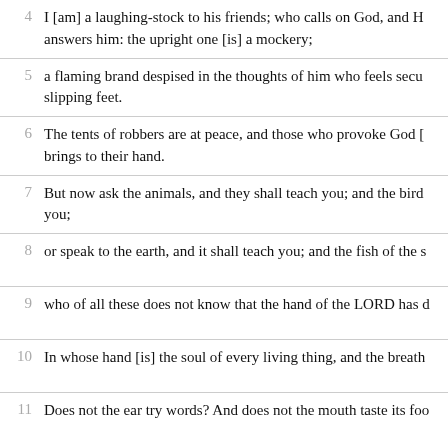4  I [am] a laughing-stock to his friends; who calls on God, and He answers him: the upright one [is] a mockery;
5  a flaming brand despised in the thoughts of him who feels secure, a torch for slipping feet.
6  The tents of robbers are at peace, and those who provoke God [are] secure; to whom God brings to their hand.
7  But now ask the animals, and they shall teach you; and the birds of the heavens, and they shall teach you;
8  or speak to the earth, and it shall teach you; and the fish of the s...
9  who of all these does not know that the hand of the LORD has d...
10  In whose hand [is] the soul of every living thing, and the breath...
11  Does not the ear try words? And does not the mouth taste its foo...